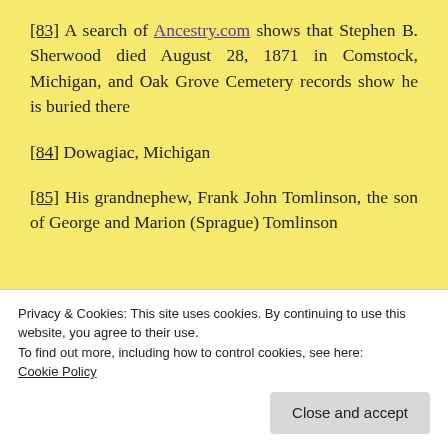[83] A search of Ancestry.com shows that Stephen B. Sherwood died August 28, 1871 in Comstock, Michigan, and Oak Grove Cemetery records show he is buried there
[84] Dowagiac, Michigan
[85] His grandnephew, Frank John Tomlinson, the son of George and Marion (Sprague) Tomlinson
Privacy & Cookies: This site uses cookies. By continuing to use this website, you agree to their use.
To find out more, including how to control cookies, see here: Cookie Policy